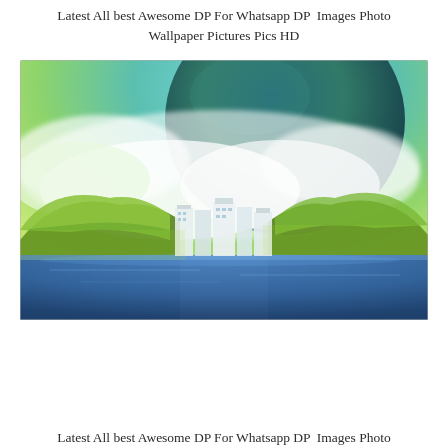Latest All best Awesome DP For Whatsapp DP  Images Photo Wallpaper Pictures Pics HD
[Figure (illustration): Fantasy digital art illustration showing a futuristic city skyline situated between green hills beside a blue lake or sea, with dramatic clouds and a large planet or moon visible in a teal/blue sky above.]
Latest All best Awesome DP For Whatsapp DP  Images Photo